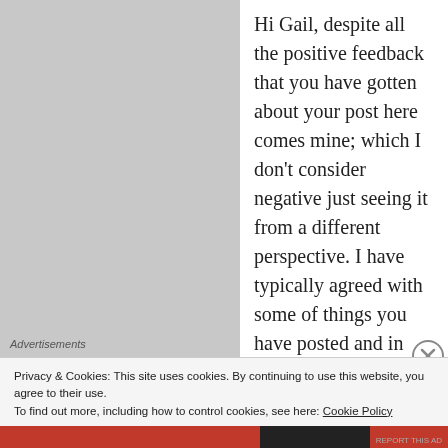Hi Gail, despite all the positive feedback that you have gotten about your post here comes mine; which I don't consider negative just seeing it from a different perspective. I have typically agreed with some of things you have posted and in part some of it I agree with particularly this whole Pokemon thing. I just don't get it and have no interest in at all; heck I'm not even on FB because I didn't like all
Advertisements
Privacy & Cookies: This site uses cookies. By continuing to use this website, you agree to their use.
To find out more, including how to control cookies, see here: Cookie Policy
Close and accept